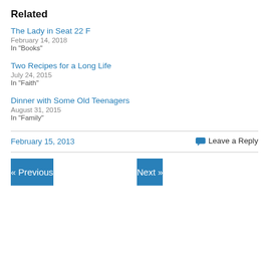Related
The Lady in Seat 22 F
February 14, 2018
In "Books"
Two Recipes for a Long Life
July 24, 2015
In "Faith"
Dinner with Some Old Teenagers
August 31, 2015
In "Family"
February 15, 2013
Leave a Reply
« Previous
Next »